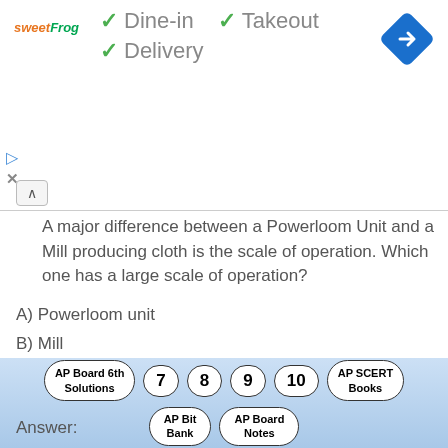[Figure (screenshot): Advertisement banner for sweetFrog restaurant with checkmarks for Dine-in, Takeout, Delivery options and a blue navigation diamond icon]
A major difference between a Powerloom Unit and a Mill producing cloth is the scale of operation. Which one has a large scale of operation?
A) Powerloom unit
B) Mill
C) Both A and B
D) Don't know
Answer:
B) Mill
AP Board 6th Solutions | 7 | 8 AP Bit Bank | 9 AP Board Notes | 10 | AP SCERT Books